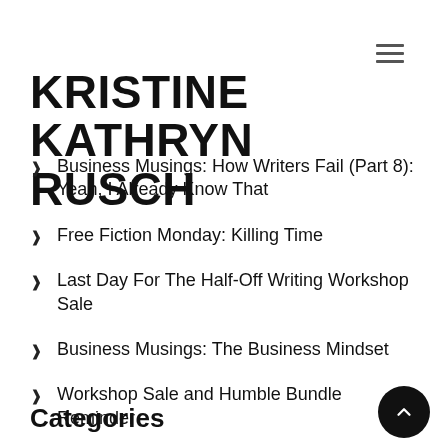≡
KRISTINE KATHRYN RUSCH
Business Musings: How Writers Fail (Part 8): Yeah, I Already Know That
Free Fiction Monday: Killing Time
Last Day For The Half-Off Writing Workshop Sale
Business Musings: The Business Mindset
Workshop Sale and Humble Bundle Reminder
Categories